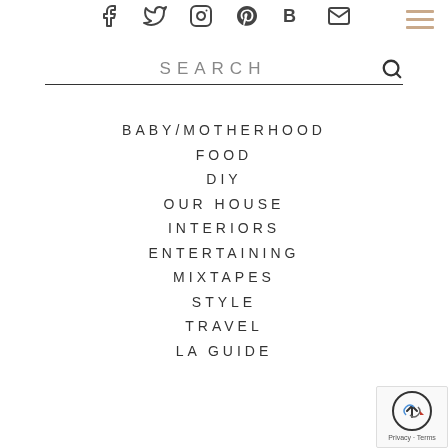Social media icons: Facebook, Twitter, Instagram, Pinterest, Bloglovin, Email
[Figure (other): Hamburger menu icon (three horizontal tan/beige lines) in top right corner]
SEARCH
BABY/MOTHERHOOD
FOOD
DIY
OUR HOUSE
INTERIORS
ENTERTAINING
MIXTAPES
STYLE
TRAVEL
LA GUIDE
[Figure (other): reCAPTCHA badge with back-to-top arrow circle and Privacy/Terms links]